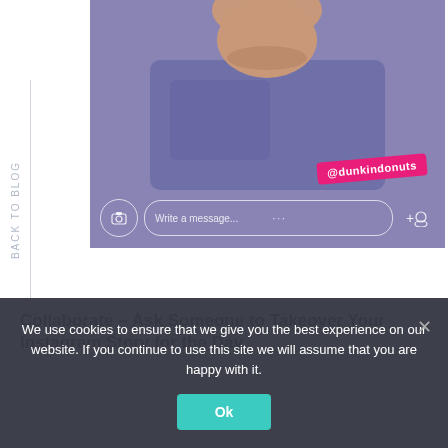[Figure (screenshot): Instagram story screenshot showing a man in a blue/purple t-shirt from the neck down, with a pink @dunkindonuts tag overlaid, and an Instagram direct message bar at the bottom with camera icon, 'Write a message...' text, dots, and add friend icon.]
BACK TO BLOG
Collaborate – Ask Someone to Takeover Your Instagram Story for the Day
We use cookies to ensure that we give you the best experience on our website. If you continue to use this site we will assume that you are happy with it.
Ok